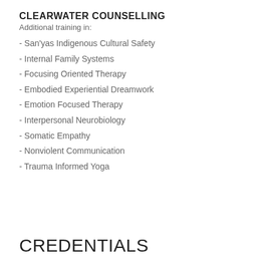CLEARWATER COUNSELLING
Additional training in:
- San'yas Indigenous Cultural Safety
- Internal Family Systems
- Focusing Oriented Therapy
- Embodied Experiential Dreamwork
- Emotion Focused Therapy
- Interpersonal Neurobiology
- Somatic Empathy
- Nonviolent Communication
- Trauma Informed Yoga
CREDENTIALS